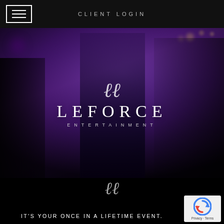CLIENT LOGIN
[Figure (photo): Wedding reception scene with a couple dancing under purple lighting. The groom is in a tuxedo and the bride is in a white dress, both smiling and laughing. Purple ambient lighting fills the venue background.]
LEFORCE ENTERTAINMENT
[Figure (logo): LeForce Entertainment script monogram logo - stylized cursive double-L letterform in white]
IT'S YOUR ONCE IN A LIFETIME EVENT.